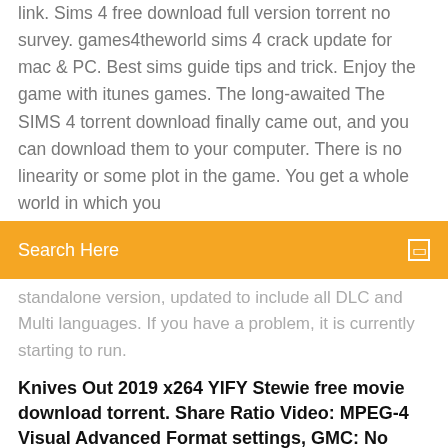link. Sims 4 free download full version torrent no survey. games4theworld sims 4 crack update for mac & PC. Best sims guide tips and trick. Enjoy the game with itunes games. The long-awaited The SIMS 4 torrent download finally came out, and you can download them to your computer. There is no linearity or some plot in the game. You get a whole world in which you
[Figure (screenshot): Orange search bar with white text 'Search Here' and a small white square icon on the right]
standalone version, updated to include all DLC and Multi languages. If you have a problem, it is currently starting to run.
Knives Out 2019 x264 YIFY Stewie free movie download torrent. Share Ratio Video: MPEG-4 Visual Advanced Format settings, GMC: No military deals.
Download The Sims 3: The Complete Collection [FULL] *Games4theworld* torrent or any other torrent from the Hry PC. Direct download via magnet link. Download The Sims 4: Get Together [FULL] * Games4theworld * torrent or any other torrent